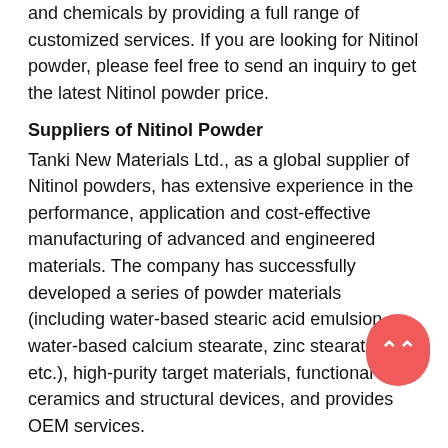and chemicals by providing a full range of customized services. If you are looking for Nitinol powder, please feel free to send an inquiry to get the latest Nitinol powder price.
Suppliers of Nitinol Powder
Tanki New Materials Ltd., as a global supplier of Nitinol powders, has extensive experience in the performance, application and cost-effective manufacturing of advanced and engineered materials. The company has successfully developed a series of powder materials (including water-based stearic acid emulsion, water-based calcium stearate, zinc stearate, etc.), high-purity target materials, functional ceramics and structural devices, and provides OEM services.
Nitinol Powder Properties
|  |  |
| --- | --- |
| Other Names | nickel titan… Ti, |